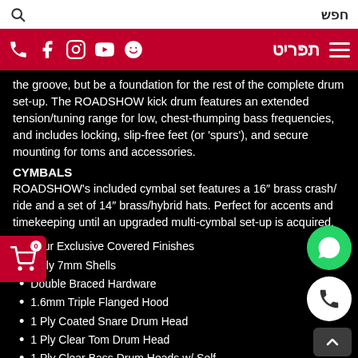חפש  [search icon]  תפריט [nav icons]
the groove, but be a foundation for the rest of the complete drum set-up. The ROADSHOW kick drum features an extended tension/tuning range for low, chest-thumping bass frequencies, and includes locking, slip-free feet (or 'spurs'), and secure mounting for toms and accessories.
CYMBALS
ROADSHOW's included cymbal set features a 16" brass crash/ ride and a set of 14" brass/hybrid hats. Perfect for accents and timekeeping until an upgraded multi-cymbal set-up is acquired.
Four Exclusive Covered Finishes
9 ply 7mm Shells
Double Braced Hardware
1.6mm Triple Flanged Hood
1 Ply Coated Snare Drum Head
1 Ply Clear Tom Drum Head
1 Ply Clear Bass Drum Heads w/ Self